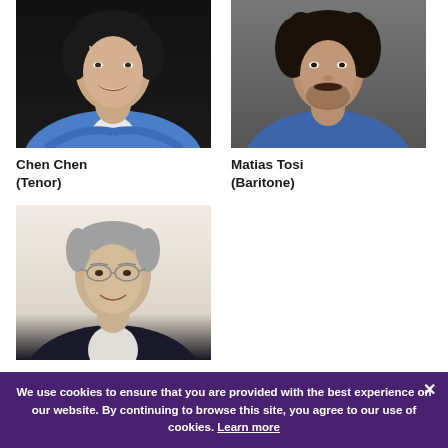[Figure (photo): Headshot of Chen Chen, a man in a blue blazer with arms crossed, smiling against a dark background]
Chen Chen
(Tenor)
[Figure (photo): Headshot of Matias Tosi, a man with curly dark hair and beard wearing a blue shirt, against a textured background]
Matias Tosi
(Baritone)
[Figure (photo): Headshot of a man wearing glasses and a dark suit jacket, smiling against a light background]
We use cookies to ensure that you are provided with the best experience on our website. By continuing to browse this site, you agree to our use of cookies. Learn more